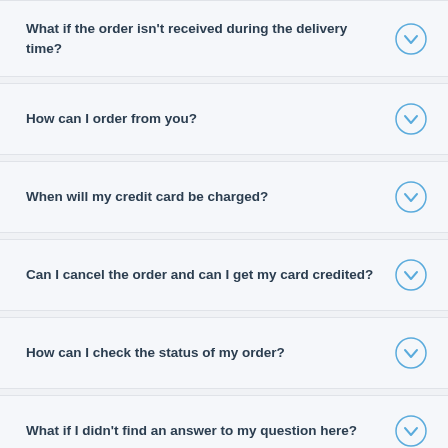What if the order isn't received during the delivery time?
How can I order from you?
When will my credit card be charged?
Can I cancel the order and can I get my card credited?
How can I check the status of my order?
What if I didn't find an answer to my question here?
What payments do you accept?